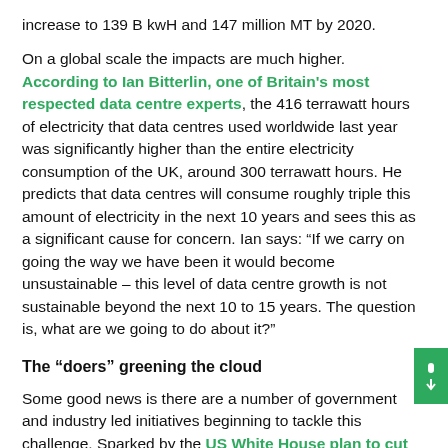increase to 139 B kwH and 147 million MT by 2020.
On a global scale the impacts are much higher. According to Ian Bitterlin, one of Britain's most respected data centre experts, the 416 terrawatt hours of electricity that data centres used worldwide last year was significantly higher than the entire electricity consumption of the UK, around 300 terrawatt hours. He predicts that data centres will consume roughly triple this amount of electricity in the next 10 years and sees this as a significant cause for concern. Ian says: “If we carry on going the way we have been it would become unsustainable – this level of data centre growth is not sustainable beyond the next 10 to 15 years. The question is, what are we going to do about it?”
The “doers” greening the cloud
Some good news is there are a number of government and industry led initiatives beginning to tackle this challenge. Sparked by the US White House plan to cut CO2 pollution by 30%, Australia's National Energy Productivity Plan, similar